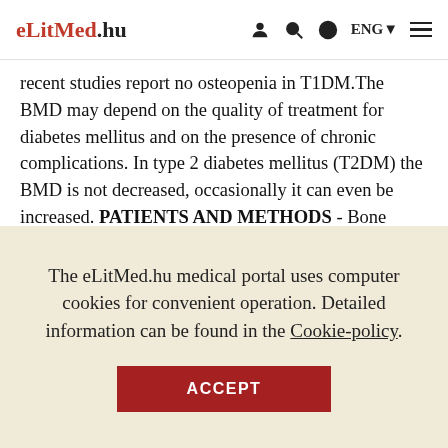eLitMed.hu — ENG navigation header
recent studies report no osteopenia in T1DM.The BMD may depend on the quality of treatment for diabetes mellitus and on the presence of chronic complications. In type 2 diabetes mellitus (T2DM) the BMD is not decreased, occasionally it can even be increased. PATIENTS AND METHODS - Bone mineral density was measured in 122 regularly controlled diabetic patients (T1DM: n=73, mean age: 43.6±11.1 years,T2DM: n=49, mean age: 61.8+98 years) by dual energy X-ray
The eLitMed.hu medical portal uses computer cookies for convenient operation. Detailed information can be found in the Cookie-policy.
ACCEPT